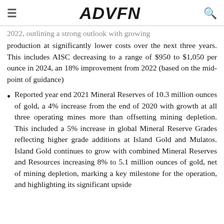ADVFN
2022, outlining a strong outlook with growing production at significantly lower costs over the next three years. This includes AISC decreasing to a range of $950 to $1,050 per ounce in 2024, an 18% improvement from 2022 (based on the mid-point of guidance)
Reported year end 2021 Mineral Reserves of 10.3 million ounces of gold, a 4% increase from the end of 2020 with growth at all three operating mines more than offsetting mining depletion. This included a 5% increase in global Mineral Reserve Grades reflecting higher grade additions at Island Gold and Mulatos. Island Gold continues to grow with combined Mineral Reserves and Resources increasing 8% to 5.1 million ounces of gold, net of mining depletion, marking a key milestone for the operation, and highlighting its significant upside